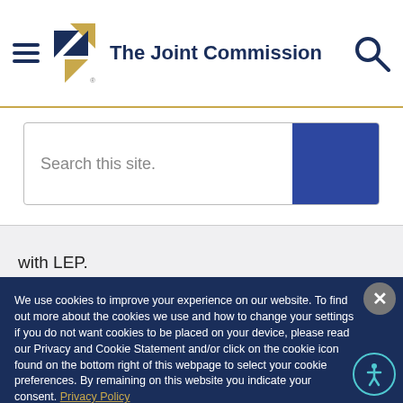The Joint Commission
[Figure (screenshot): Search bar with placeholder text 'Search this site.' and blue search button]
with LEP.
Based on analysis of recent Census Bureau
We use cookies to improve your experience on our website. To find out more about the cookies we use and how to change your settings if you do not want cookies to be placed on your device, please read our Privacy and Cookie Statement and/or click on the cookie icon found on the bottom right of this webpage to select your cookie preferences. By remaining on this website you indicate your consent. Privacy Policy